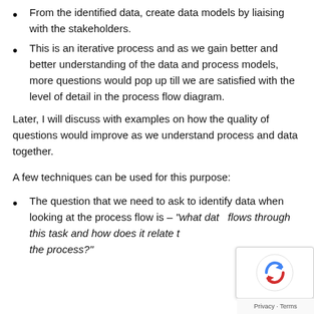From the identified data, create data models by liaising with the stakeholders.
This is an iterative process and as we gain better and better understanding of the data and process models, more questions would pop up till we are satisfied with the level of detail in the process flow diagram.
Later, I will discuss with examples on how the quality of questions would improve as we understand process and data together.
A few techniques can be used for this purpose:
The question that we need to ask to identify data when looking at the process flow is – "what data flows through this task and how does it relate to the process?"